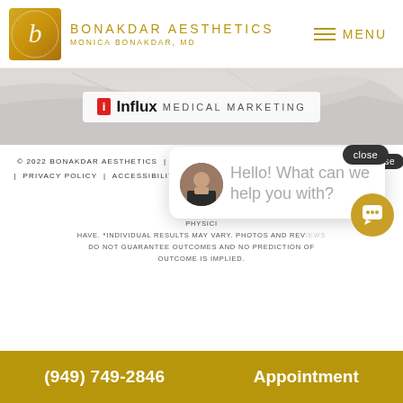[Figure (logo): Bonakdar Aesthetics logo with stylized B and Monica Bonakdar MD text, plus hamburger menu icon and MENU label]
[Figure (logo): Influx Medical Marketing badge on marble background]
© 2022 BONAKDAR AESTHETICS  |  ALL RIGHTS RESERVED  |  PRIVACY POLICY  |  ACCESSIBILITY STATEMENT
THIS INFORMATION IS FOR EDUCATIONAL PURPOSES. THE SPECIALTY OF PLASTIC SURGERY INVOLVES RELATIVE RISKS. FOR HEALTHY PATIENTS. RESULTS MAY VARY BASED ON PHYSICIAN GENETICS THAT THE INDIVIDUAL PATIENT MAY HAVE. *INDIVIDUAL RESULTS MAY VARY. PHOTOS AND REVIEWS DO NOT GUARANTEE OUTCOMES AND NO PREDICTION OF OUTCOME IS IMPLIED.
[Figure (screenshot): Chat popup with 'Hello! What can we help you with?' message, close button, avatar, and chat bubble icon]
(949) 749-2846
Appointment